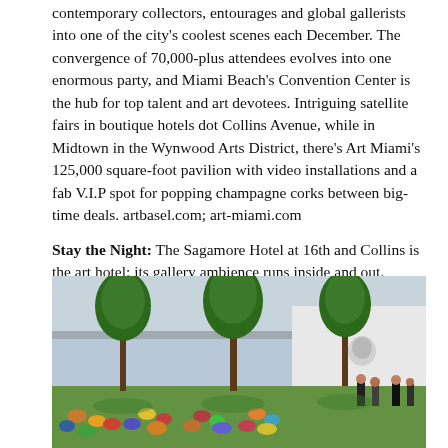contemporary collectors, entourages and global gallerists into one of the city's coolest scenes each December. The convergence of 70,000-plus attendees evolves into one enormous party, and Miami Beach's Convention Center is the hub for top talent and art devotees. Intriguing satellite fairs in boutique hotels dot Collins Avenue, while in Midtown in the Wynwood Arts District, there's Art Miami's 125,000 square-foot pavilion with video installations and a fab V.I.P spot for popping champagne corks between big-time deals. artbasel.com; art-miami.com
Stay the Night: The Sagamore Hotel at 16th and Collins is the art hotel; its gallery ambience runs inside and out. sagamorehotel.com
[Figure (photo): Outdoor gathering area with people sitting on grass under trees inside a large convention hall or pavilion, with an Apple logo visible on the wall in the background.]